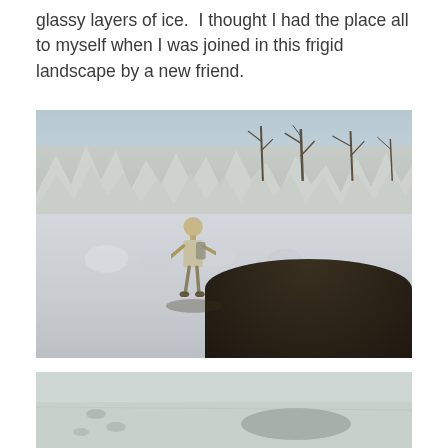glassy layers of ice.  I thought I had the place all to myself when I was joined in this frigid landscape by a new friend.
[Figure (photo): A small scarecrow-like figure or doll made of cloth/burlap stands in a wintry landscape with snow and ice on the ground. Behind it are large frozen ice formations along a shoreline, bare trees, and rubble covered in ice. The scene is cold and desolate under bright winter sunlight.]
[Figure (photo): Partial bottom photo showing a snow and ice-covered surface with some shadows and footprints visible, taken in a winter outdoor setting.]